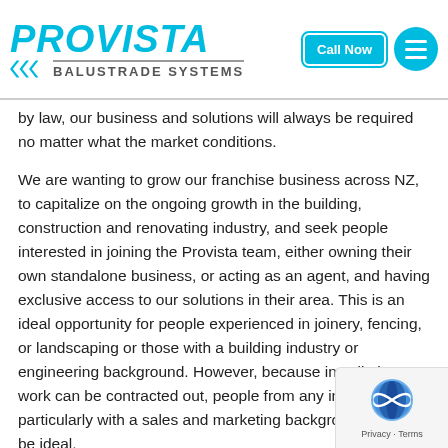PROVISTA BALUSTRADE SYSTEMS — Call Now
by law, our business and solutions will always be required no matter what the market conditions.

We are wanting to grow our franchise business across NZ, to capitalize on the ongoing growth in the building, construction and renovating industry, and seek people interested in joining the Provista team, either owning their own standalone business, or acting as an agent, and having exclusive access to our solutions in their area. This is an ideal opportunity for people experienced in joinery, fencing, or landscaping or those with a building industry or engineering background. However, because installation work can be contracted out, people from any industry and particularly with a sales and marketing background w also be ideal.